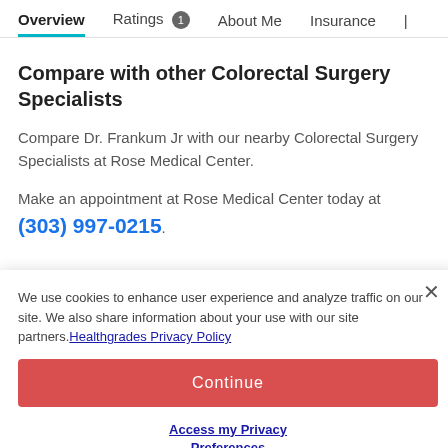Overview | Ratings 1 | About Me | Insurance |
Compare with other Colorectal Surgery Specialists
Compare Dr. Frankum Jr with our nearby Colorectal Surgery Specialists at Rose Medical Center.
Make an appointment at Rose Medical Center today at (303) 997-0215.
We use cookies to enhance user experience and analyze traffic on our site. We also share information about your use with our site partners. Healthgrades Privacy Policy
Continue
Access my Privacy Preferences